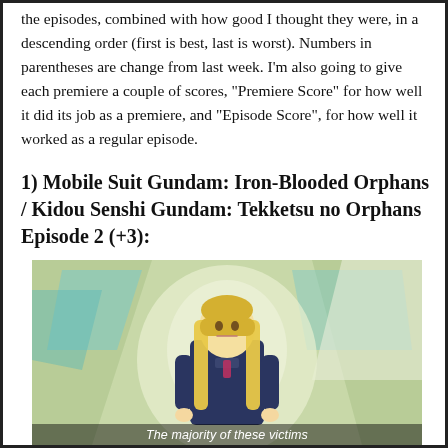the episodes, combined with how good I thought they were, in a descending order (first is best, last is worst). Numbers in parentheses are change from last week. I'm also going to give each premiere a couple of scores, "Premiere Score" for how well it did its job as a premiere, and "Episode Score", for how well it worked as a regular episode.
1) Mobile Suit Gundam: Iron-Blooded Orphans / Kidou Senshi Gundam: Tekketsu no Orphans Episode 2 (+3):
[Figure (screenshot): Anime screenshot from Mobile Suit Gundam: Iron-Blooded Orphans showing a blonde female character standing in front of a stylized geometric background. Subtitle text reads: 'The majority of these victims']